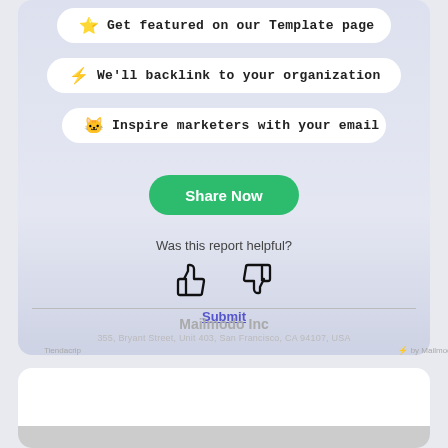⭐ Get featured on our Template page
⚡ We'll backlink to your organization
🐱 Inspire marketers with your email
Share Now
Was this report helpful?
Submit
Mailmodo Inc
355, Bryant Street, Unit 403, San Francisco, CA 94107, USA
Tiendacrip  ⚡ by Mailmodo
[Figure (logo): Circular seal/emblem logo at bottom of page]